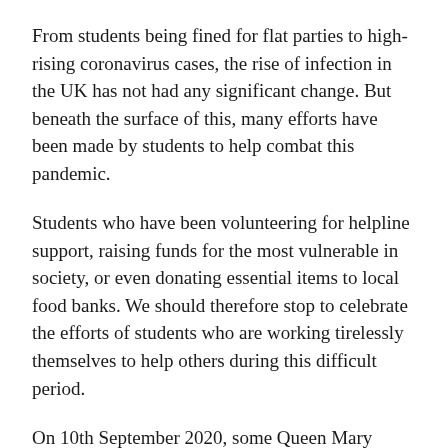From students being fined for flat parties to high-rising coronavirus cases, the rise of infection in the UK has not had any significant change. But beneath the surface of this, many efforts have been made by students to help combat this pandemic.
Students who have been volunteering for helpline support, raising funds for the most vulnerable in society, or even donating essential items to local food banks. We should therefore stop to celebrate the efforts of students who are working tirelessly themselves to help others during this difficult period.
On 10th September 2020, some Queen Mary students helped to organise an online auction to raise money for the charities impacted by COVID-19.
The increased demand to provide for the vulnerable,